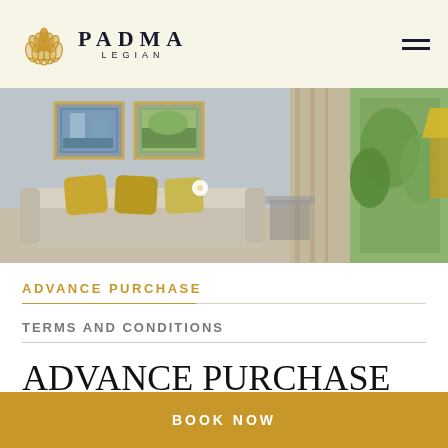PADMA LEGIAN
[Figure (photo): Hotel room interior with sofa, decorative cushions, framed wall art, and view of lush tropical garden through sliding glass doors with beige curtains]
ADVANCE PURCHASE
TERMS AND CONDITIONS
ADVANCE PURCHASE
BOOK NOW